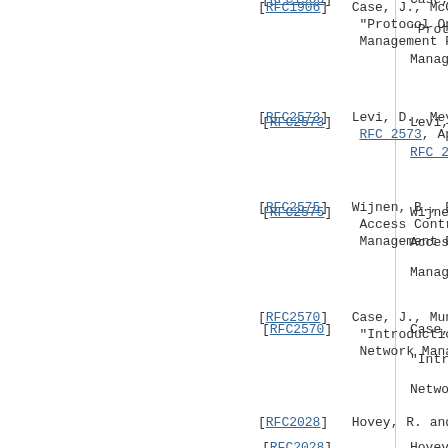[RFC1906]    Case, J., McCloghrie, K., Rose, M., and S. Waldbusser, "Protocol Operations for Version 2 of the Simple Network Management Protocol (SNMPv2)", RFC 1906, January 1996.
[RFC2573]    Levi, D., Meyer, P., and B. Stewart, SNMP Applications, RFC 2573, April 1999.
[RFC2575]    Wijnen, B., Presuhn, R., and K. McCloghrie, View-based Access Control Mechanism (VACM) for the Simple Network Management Protocol (SNMP), RFC 2575, April 1999.
[RFC2570]    Case, J., Mundy, R., Partain, D. and B. Stewart, "Introduction to Version 3 of the Internet-standard Network Management Framework", RFC 2570, April 1999.
[RFC2028]    Hovey, R. and S. Bradner, "The Organizations Involved in the IETF Standards Process", BCP 11, RFC 2028, October 1996.
[RFC3165]    Levi, D. and J. Schoenwaelder, "Definitions of Managed Objects for the Delegation of Management Scripts", RFC 3165.